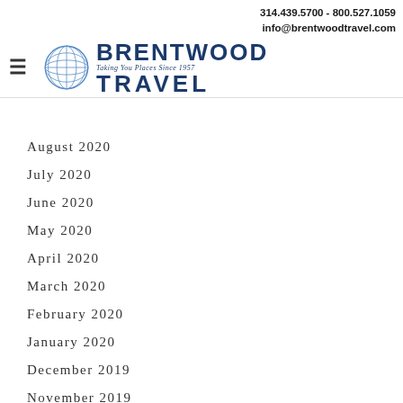314.439.5700 - 800.527.1059
info@brentwoodtravel.com
Brentwood Travel — Taking You Places Since 1957
August 2020
July 2020
June 2020
May 2020
April 2020
March 2020
February 2020
January 2020
December 2019
November 2019
October 2019